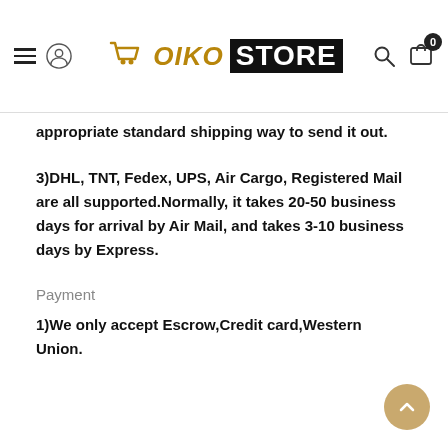OIKO STORE
appropriate standard shipping way to send it out.
3)DHL, TNT, Fedex, UPS, Air Cargo, Registered Mail are all supported.Normally, it takes 20-50 business days for arrival by Air Mail, and takes 3-10 business days by Express.
Payment
1)We only accept Escrow,Credit card,Western Union.